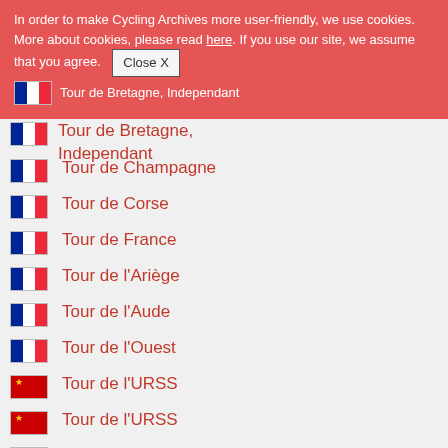In order to make Cycling Archives more user-friendly, we use cookies. More about cookies, please read here. If you use our site, we assume that you agree. Close X
Tour de Bretagne, Independant
Tour de Bretagne, Independant
Tour de Champagne
Tour de Corse
Tour de France
Tour de l'Ariège
Tour de l'Aude
Tour de l'Ouest
Tour de l'URSS
Tour de l'URSS
Tour de la Loire
Tour de la Province de Namur
Tour de Luxembourg
Tour de Normandie
Tour de Picardie
Tour de Picardie (a)
Tour de Pologne